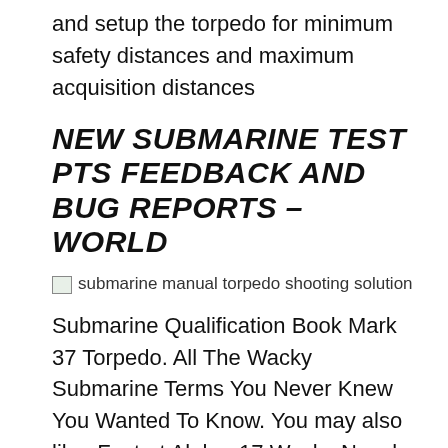and setup the torpedo for minimum safety distances and maximum acquisition distances
NEW SUBMARINE TEST PTS FEEDBACK AND BUG REPORTS – WORLD
[Figure (photo): submarine manual torpedo shooting solution]
Submarine Qualification Book Mark 37 Torpedo. All The Wacky Submarine Terms You Never Knew You Wanted To Know. You may also like. Foxtrot Alpha. 17 Wacky Naval Aviation Terms You Never Knew вЂ¦ Using the Surface action increments the depth of the submarine by one, so a submarine at deep depth (4) would move to shallow depth (3 ). A submarine at Periscope